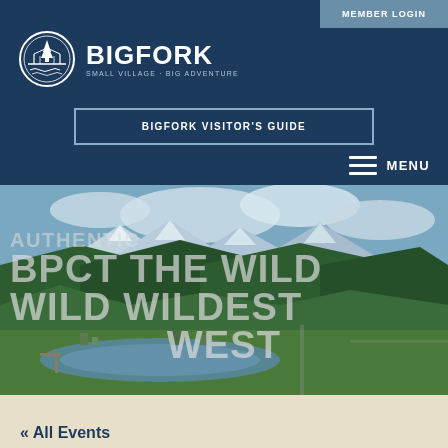MEMBER LOGIN
[Figure (logo): Bigfork logo: circular emblem with bridge and pine tree, text BIGFORK SMALL VILLAGE + BIG ADVENTURE]
BIGFORK VISITOR'S GUIDE
MENU
[Figure (photo): Aerial panoramic photo of Bigfork, Montana showing a small town, lake/river, forested mountains with snow-capped peaks in background. Large overlaid text reads: AUTHENTIC BPCT THE WILD WILD WILDEST WEST]
« All Events